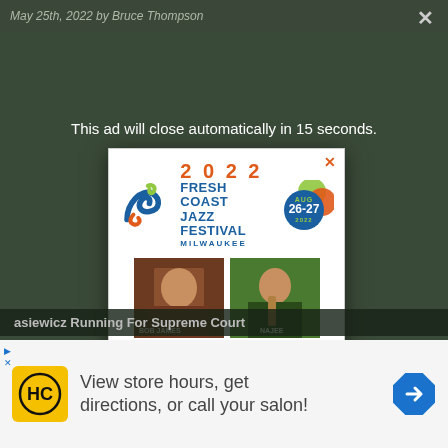May 25th, 2022 by Bruce Thompson
This ad will close automatically in 15 seconds.
[Figure (other): Fresh Coast Jazz Festival 2022 advertisement. Shows festival logo with colorful swirl, date AUG 26-27 2022, THE PABST THEATER venue, performers BOB JAMES and NAJEE. Text: FRESHCOASTJAZZ.COM + PABSTTHEATERGROUP.COM]
asiewicz Running For Supreme Court
[Figure (logo): HC (Supercuts/Hair Club) logo on yellow background square]
View store hours, get directions, or call your salon!